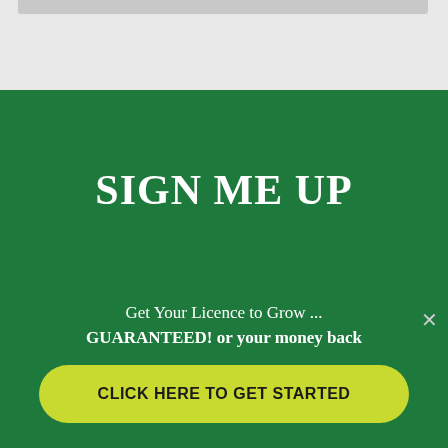[Figure (screenshot): Top gray area representing a webpage header/navigation bar]
SIGN ME UP
Contact Us
Get Your Licence to Grow ...
GUARANTEED! or your money back
CLICK HERE TO GET STARTED